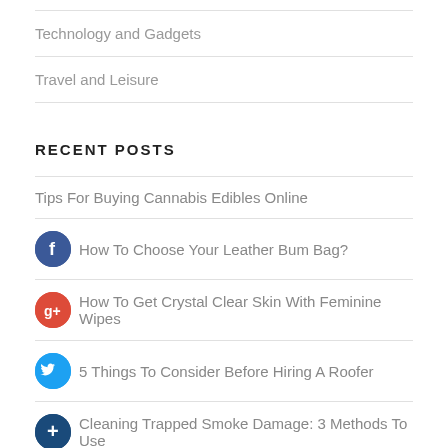Technology and Gadgets
Travel and Leisure
RECENT POSTS
Tips For Buying Cannabis Edibles Online
How To Choose Your Leather Bum Bag?
How To Get Crystal Clear Skin With Feminine Wipes
5 Things To Consider Before Hiring A Roofer
Cleaning Trapped Smoke Damage: 3 Methods To Use